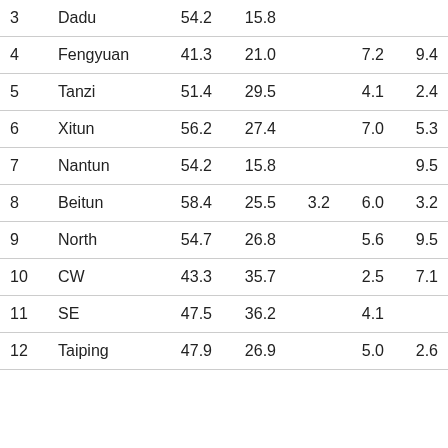| 3 | Dadu | 54.2 | 15.8 |  |  |  | 29.9 |
| 4 | Fengyuan | 41.3 | 21.0 |  | 7.2 | 9.4 | 21.2 |
| 5 | Tanzi | 51.4 | 29.5 |  | 4.1 | 2.4 | 12.6 |
| 6 | Xitun | 56.2 | 27.4 |  | 7.0 | 5.3 | 4.1 |
| 7 | Nantun | 54.2 | 15.8 |  |  | 9.5 | 20.5 |
| 8 | Beitun | 58.4 | 25.5 | 3.2 | 6.0 | 3.2 | 3.7 |
| 9 | North | 54.7 | 26.8 |  | 5.6 | 9.5 | 3.4 |
| 10 | CW | 43.3 | 35.7 |  | 2.5 | 7.1 | 11.5 |
| 11 | SE | 47.5 | 36.2 |  | 4.1 |  | 12.2 |
| 12 | Taiping | 47.9 | 26.9 |  | 5.0 | 2.6 | 17.7 |